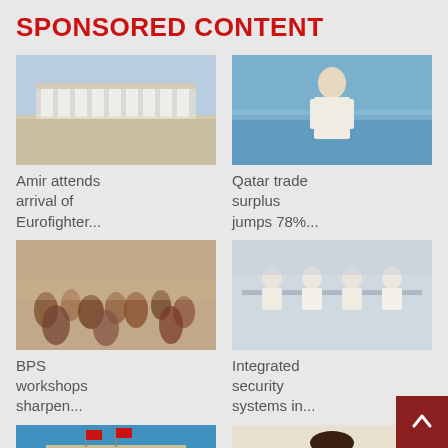SPONSORED CONTENT
[Figure (photo): Aerial or ground-level view of a plaza or architectural complex]
Amir attends arrival of Eurofighter...
[Figure (photo): Person in traditional white robes standing near water or harbor]
Qatar trade surplus jumps 78%...
[Figure (photo): Crowd gathered indoors, marketplace or workshop setting]
BPS workshops sharpen...
[Figure (photo): People in white robes seated around a table in a modern office setting]
Integrated security systems in...
[Figure (photo): Building facade with flags in daylight, desert-style architecture]
Thunder-like sound due to
[Figure (photo): Young man in white coat, medical or academic setting]
MES student to represent